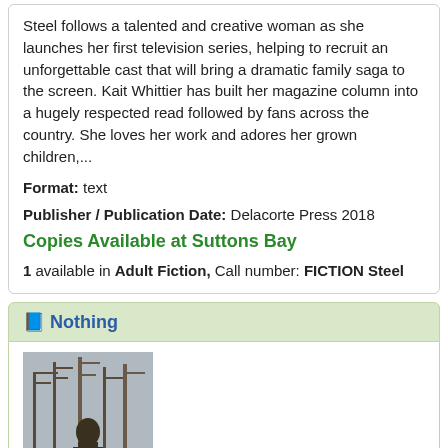Steel follows a talented and creative woman as she launches her first television series, helping to recruit an unforgettable cast that will bring a dramatic family saga to the screen. Kait Whittier has built her magazine column into a hugely respected read followed by fans across the country. She loves her work and adores her grown children,...
Format: text
Publisher / Publication Date: Delacorte Press 2018
Copies Available at Suttons Bay
1 available in Adult Fiction, Call number: FICTION Steel
Nothing
[Figure (photo): Book cover for 'Nothing' showing a person outdoors with bare trees in the background, with 'NOTHING' text at the bottom]